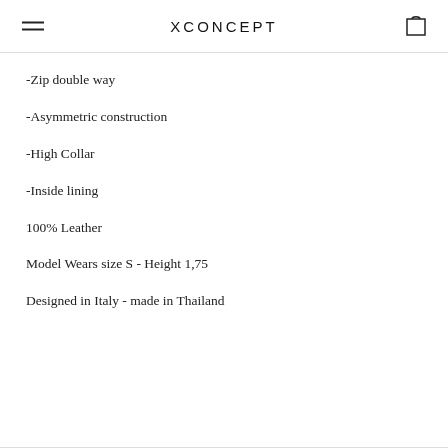XCONCEPT
-Zip double way
-Asymmetric construction
-High Collar
-Inside lining
100% Leather
Model Wears size S - Height 1,75
Designed in Italy - made in Thailand